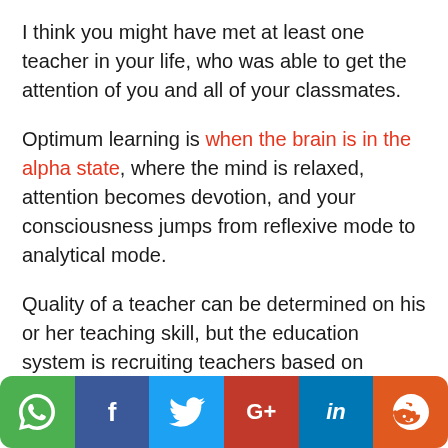I think you might have met at least one teacher in your life, who was able to get the attention of you and all of your classmates.
Optimum learning is when the brain is in the alpha state, where the mind is relaxed, attention becomes devotion, and your consciousness jumps from reflexive mode to analytical mode.
Quality of a teacher can be determined on his or her teaching skill, but the education system is recruiting teachers based on memory skill
[Figure (infographic): Social sharing bar with icons for WhatsApp, Facebook, Twitter, Google+, LinkedIn, and Reddit]